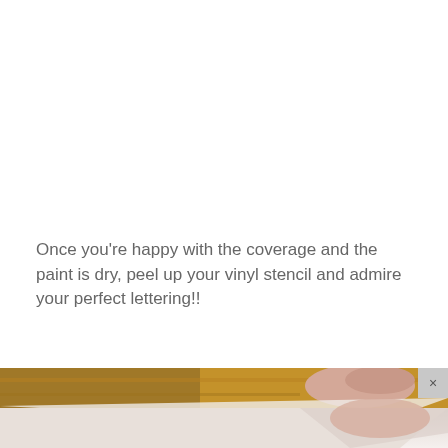Once you're happy with the coverage and the paint is dry, peel up your vinyl stencil and admire your perfect lettering!!
[Figure (photo): Photo showing hands peeling up a vinyl stencil from a surface. Top portion shows a wooden surface with a hand gripping the stencil edge, bottom portion shows the white surface underneath being revealed. A close button (×) appears in the upper right corner.]